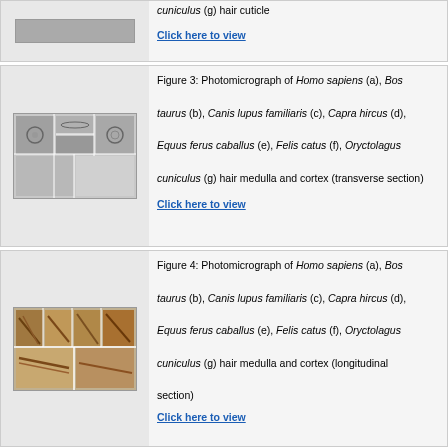[Figure (photo): Partial view of hair cuticle photomicrograph row]
cuniculus (g) hair cuticle
Click here to view
[Figure (photo): Photomicrograph of hair medulla and cortex (transverse section) for Homo sapiens (a), Bos taurus (b), Canis lupus familiaris (c), Capra hircus (d), Equus ferus caballus (e), Felis catus (f), Oryctolagus cuniculus (g)]
Figure 3: Photomicrograph of Homo sapiens (a), Bos taurus (b), Canis lupus familiaris (c), Capra hircus (d), Equus ferus caballus (e), Felis catus (f), Oryctolagus cuniculus (g) hair medulla and cortex (transverse section)
Click here to view
[Figure (photo): Photomicrograph of hair medulla and cortex (longitudinal section) for Homo sapiens (a), Bos taurus (b), Canis lupus familiaris (c), Capra hircus (d), Equus ferus caballus (e), Felis catus (f), Oryctolagus cuniculus (g)]
Figure 4: Photomicrograph of Homo sapiens (a), Bos taurus (b), Canis lupus familiaris (c), Capra hircus (d), Equus ferus caballus (e), Felis catus (f), Oryctolagus cuniculus (g) hair medulla and cortex (longitudinal section)
Click here to view
To confirm the preliminary taxonomic distinction obtained by microscopic